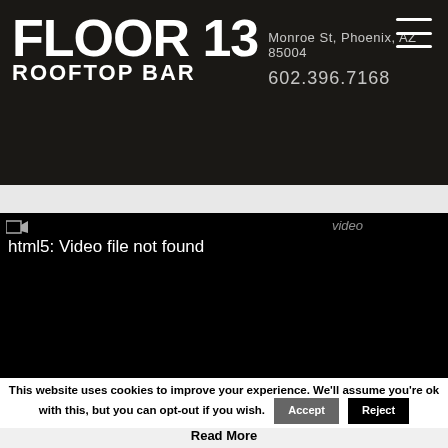FLOOR 13 ROOFTOP BAR | Monroe St, Phoenix, AZ 85004 | 602.396.7168
[Figure (screenshot): Video player showing error message: html5: Video file not found on a black background with a 'video' label]
This website uses cookies to improve your experience. We'll assume you're ok with this, but you can opt-out if you wish. Accept Reject
Read More